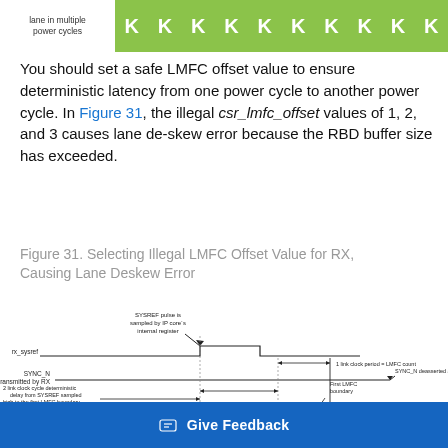[Figure (schematic): Table row showing 'lane in multiple power cycles' label on left and a series of K characters in green cells spanning the row]
You should set a safe LMFC offset value to ensure deterministic latency from one power cycle to another power cycle. In Figure 31, the illegal csr_lmfc_offset values of 1, 2, and 3 causes lane de-skew error because the RBD buffer size has exceeded.
Figure 31. Selecting Illegal LMFC Offset Value for RX, Causing Lane Deskew Error
[Figure (engineering-diagram): Timing diagram showing rx_sysref signal, SYNC_N transmitted by RX, SYSREF pulse sampled by IP core internal register annotation, 2 link clock cycle deterministic delay from SYSREF sampled high to first LMFC boundary, 1 link clock period = LMFC count, First LMFC boundary, Internal LMFC Counter showing Free running LMFC counter and values 0, 1, 2, S, 0, 1, S, 4. SYNC_N deasserted annotation on right.]
Give Feedback